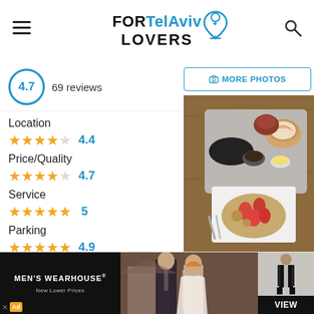FOR Tel Aviv LOVERS
4.7  69 reviews
Location ★★★★☆ 4.4
Price/Quality ★★★★☆ 4.7
Service ★★★★★ 5
Parking ★★★★★ 4.9
i quality
[Figure (photo): Overhead shot of a cafe tray with coffee, a pastry/muffin, butter, a small dish, and a strawberry galette on a wooden table]
[Figure (screenshot): Men's Wearhouse advertisement banner with couple in formal wear, VIEW button, New Lower Prices tagline]